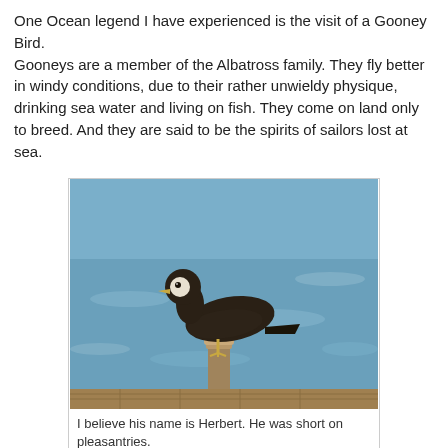One Ocean legend I have experienced is the visit of a Gooney Bird.
Gooneys are a member of the Albatross family. They fly better in windy conditions, due to their rather unwieldy physique, drinking sea water and living on fish. They come on land only to breed. And they are said to be the spirits of sailors lost at sea.
[Figure (photo): A dark-feathered bird (Gooney Bird / Albatross) perched on a wooden post, with ocean water visible in the background.]
I believe his name is Herbert. He was short on pleasantries.
We had a Gooney bird visit us nightly when we stayed at Fort Recovery, Tortola.